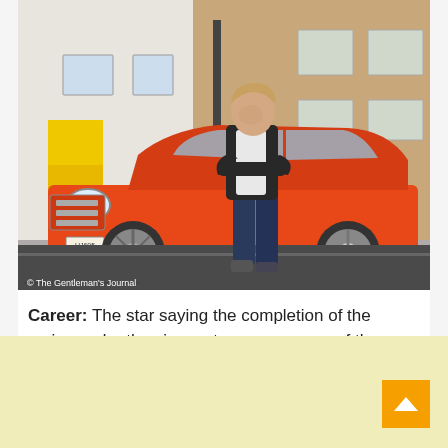[Figure (photo): A man in a dark jacket and jeans leaning against a bright orange vintage car (likely an Audi or similar European sedan) parked on a street in front of a brick building. A yellow door is visible to the left. Photo credit reads '© The Gentleman's Journal'.]
Career: The star saying the completion of the series under the circumstances was one of the most 'meaningful' moments of his career